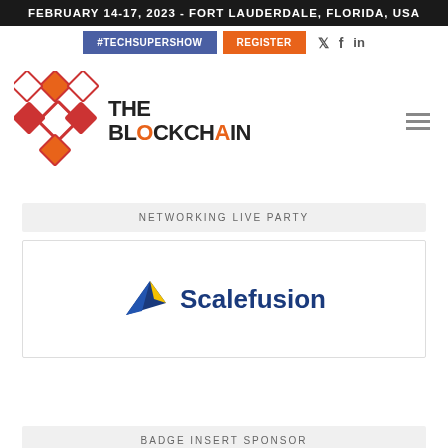FEBRUARY 14-17, 2023 - FORT LAUDERDALE, FLORIDA, USA
[Figure (logo): The Blockchain event logo with geometric diamond pattern and text THE BLOCKCHAIN]
NETWORKING LIVE PARTY
[Figure (logo): Scalefusion logo with yellow/blue origami bird icon and blue text Scalefusion]
BADGE INSERT SPONSOR